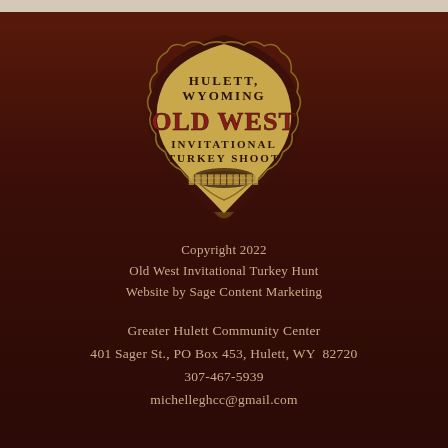[Figure (logo): Hulett, Wyoming Old West Invitational Turkey Shoot badge/shield logo with western style text and decorative border on tan/wood-colored background]
Copyright 2022
Old West Invitational Turkey Hunt
Website by Sage Content Marketing
Greater Hulett Community Center
401 Sager St., PO Box 453, Hulett, WY  82720
307-467-5939
michelleghcc@gmail.com